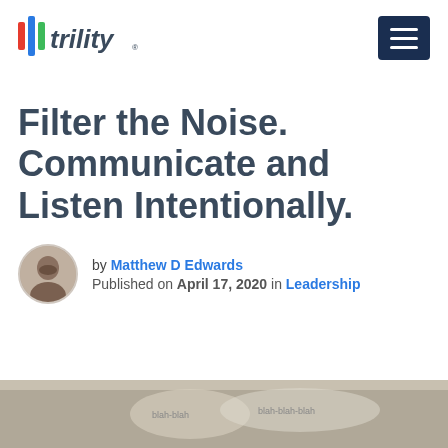[Figure (logo): Trility logo with colored vertical bars and italic text]
Filter the Noise. Communicate and Listen Intentionally.
by Matthew D Edwards
Published on April 17, 2020 in Leadership
[Figure (photo): Partial photo at bottom of page showing speech bubbles with blah-blah text]